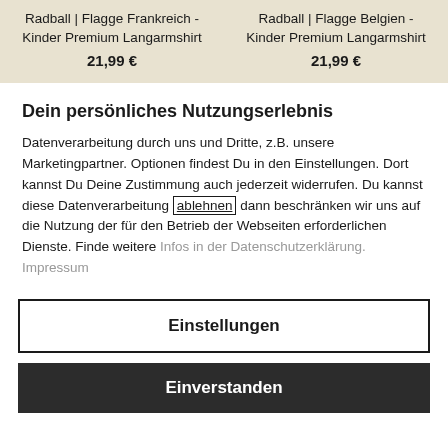Radball | Flagge Frankreich - Kinder Premium Langarmshirt
21,99 €
Radball | Flagge Belgien - Kinder Premium Langarmshirt
21,99 €
Dein persönliches Nutzungserlebnis
Datenverarbeitung durch uns und Dritte, z.B. unsere Marketingpartner. Optionen findest Du in den Einstellungen. Dort kannst Du Deine Zustimmung auch jederzeit widerrufen. Du kannst diese Datenverarbeitung ablehnen dann beschränken wir uns auf die Nutzung der für den Betrieb der Webseiten erforderlichen Dienste. Finde weitere Infos in der Datenschutzerklärung. Impressum
Einstellungen
Einverstanden